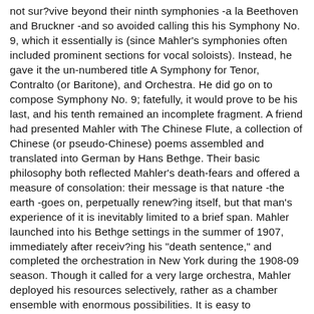not sur?vive beyond their ninth symphonies -a la Beethoven and Bruckner -and so avoided calling this his Symphony No. 9, which it essentially is (since Mahler's symphonies often included prominent sections for vocal soloists). Instead, he gave it the un-numbered title A Symphony for Tenor, Contralto (or Baritone), and Orchestra. He did go on to compose Symphony No. 9; fatefully, it would prove to be his last, and his tenth remained an incomplete fragment. A friend had presented Mahler with The Chinese Flute, a collection of Chinese (or pseudo-Chinese) poems assembled and translated into German by Hans Bethge. Their basic philosophy both reflected Mahler's death-fears and offered a measure of consolation: their message is that nature -the earth -goes on, perpetually renew?ing itself, but that man's experience of it is inevitably limited to a brief span. Mahler launched into his Bethge settings in the summer of 1907, immediately after receiv?ing his "death sentence," and completed the orchestration in New York during the 1908-09 season. Though it called for a very large orchestra, Mahler deployed his resources selectively, rather as a chamber ensemble with enormous possibilities. It is easy to understand why Schoenberg should have considered it appropriate for a chamber transcription. The musical language of Lieder eines fahrenden Gesellen